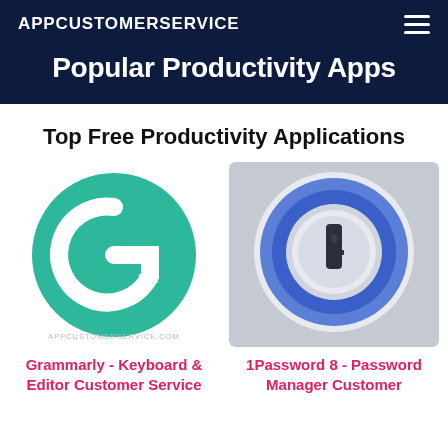APPCUSTOMERSERVICE
Popular Productivity Apps
Top Free Productivity Applications
[Figure (logo): Grammarly app icon: green circle with white G letter and arrow]
[Figure (logo): 1Password app icon: blue concentric rings with key symbol on grey background]
Grammarly - Keyboard & Editor Customer Service
1Password 8 - Password Manager Customer